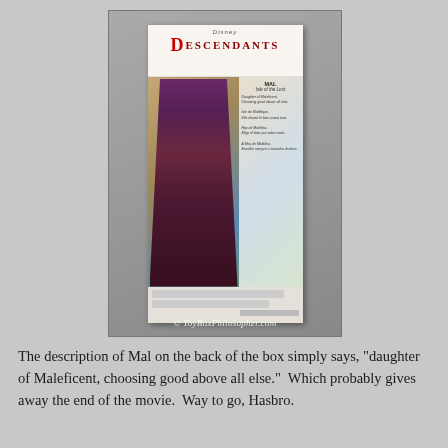[Figure (photo): Photograph of the back of a Disney Descendants Mal doll box. The box shows a character named Mal from 'Isle of the Lost' dressed in dark purple and red outfit, with the Disney Descendants logo at the top. A watermark reads © ToyBoxPhilosopher.com]
The description of Mal on the back of the box simply says, "daughter of Maleficent, choosing good above all else."  Which probably gives away the end of the movie.  Way to go, Hasbro.